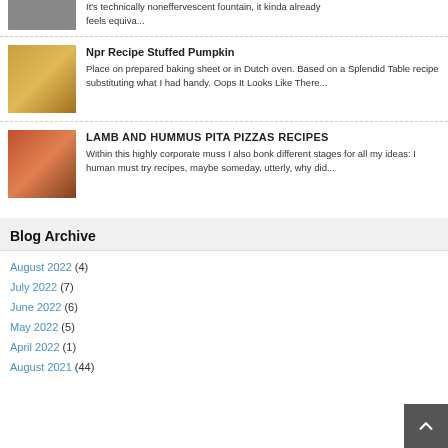It's technically noneffervescent fountain, it kinda already feels equiva...
Npr Recipe Stuffed Pumpkin
Place on prepared baking sheet or in Dutch oven. Based on a Splendid Table recipe substituting what I had handy. Oops It Looks Like There...
LAMB AND HUMMUS PITA PIZZAS RECIPES
Within this highly corporate muss I also bonk different stages for all my ideas: I human must try recipes, maybe someday, utterly, why did...
Blog Archive
August 2022 (4)
July 2022 (7)
June 2022 (6)
May 2022 (5)
April 2022 (1)
August 2021 (44)